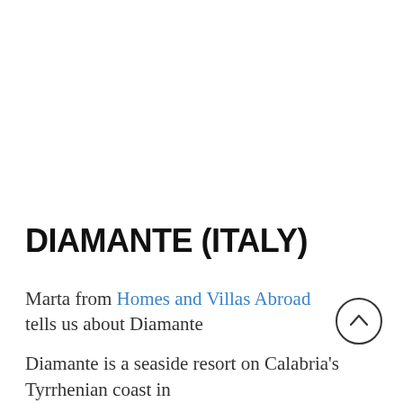DIAMANTE (ITALY)
Marta from Homes and Villas Abroad tells us about Diamante
Diamante is a seaside resort on Calabria's Tyrrhenian coast in